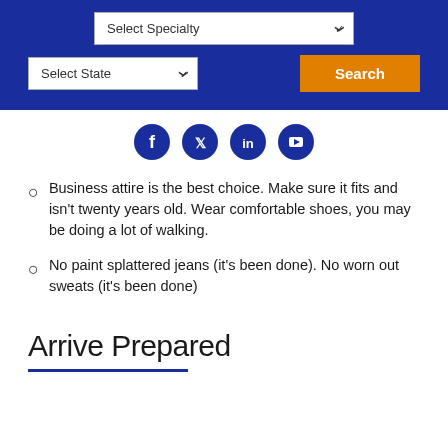[Figure (screenshot): Blue navigation bar with 'Select Specialty' dropdown, 'Select State' dropdown, and orange 'Search' button]
[Figure (infographic): Social media icon buttons: Facebook, Twitter, LinkedIn, YouTube on white background]
Business attire is the best choice. Make sure it fits and isn't twenty years old. Wear comfortable shoes, you may be doing a lot of walking.
No paint splattered jeans (it's been done). No worn out sweats (it's been done)
Arrive Prepared